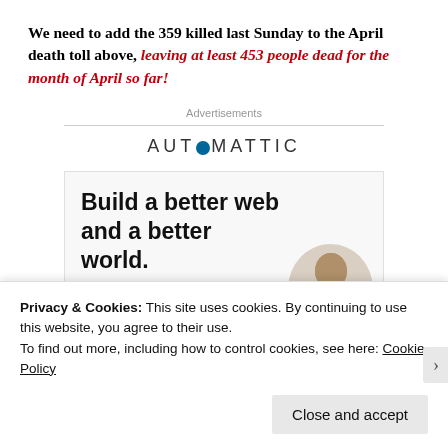We need to add the 359 killed last Sunday to the April death toll above, leaving at least 453 people dead for the month of April so far!
[Figure (other): Automattic advertisement banner: AUTOMATTIC logo with tagline 'Build a better web and a better world.' and an Apply button, with a circular photo of a man.]
Privacy & Cookies: This site uses cookies. By continuing to use this website, you agree to their use. To find out more, including how to control cookies, see here: Cookie Policy